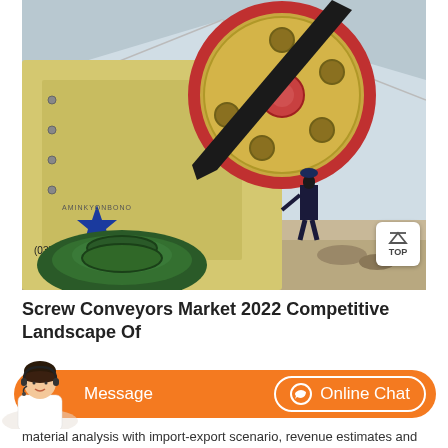[Figure (photo): Industrial jaw crusher machine with large flywheel and green motor base; a worker operates machinery in background at mining/quarry site under tent structure. Machine has blue star logo and phone number (0371-66...).]
Screw Conveyors Market 2022 Competitive Landscape Of
[Figure (infographic): Orange chat bar with Message button on left and Online Chat button on right; customer service avatar image on far left overlapping the bar.]
material analysis with import-export scenario, revenue estimates and